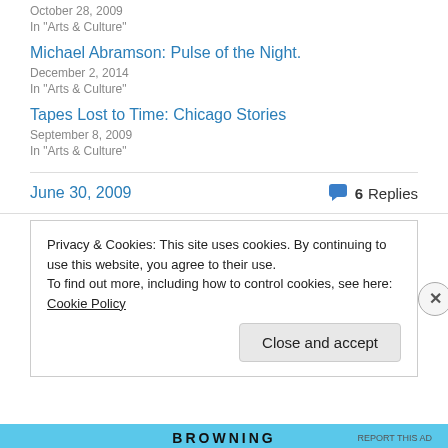October 28, 2009
In "Arts & Culture"
Michael Abramson: Pulse of the Night.
December 2, 2014
In "Arts & Culture"
Tapes Lost to Time: Chicago Stories
September 8, 2009
In "Arts & Culture"
June 30, 2009
6 Replies
Privacy & Cookies: This site uses cookies. By continuing to use this website, you agree to their use.
To find out more, including how to control cookies, see here: Cookie Policy
Close and accept